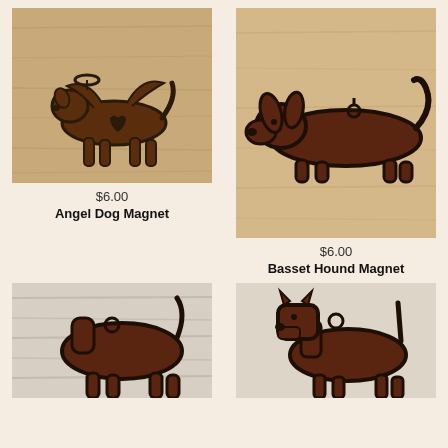[Figure (photo): Angel dog magnet - dark metal silhouette of a dog with wings and halo on a wood background]
$6.00
Angel Dog Magnet
[Figure (photo): Basset hound magnet - dark metal silhouette of a long basset hound dog on a wood background]
$6.00
Basset Hound Magnet
[Figure (photo): Dog magnet - dark metal silhouette of a standing dog on a whitewashed wood background, partially visible]
[Figure (photo): Dog magnet - dark metal silhouette of a terrier-type dog on a light background, partially visible]